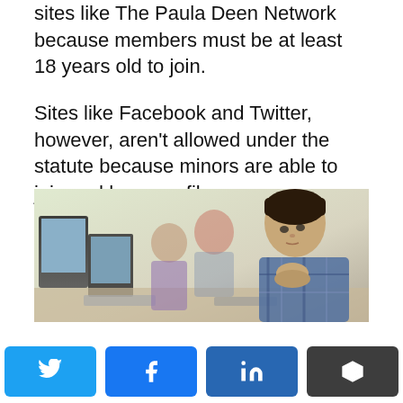sites like The Paula Deen Network because members must be at least 18 years old to join.
Sites like Facebook and Twitter, however, aren't allowed under the statute because minors are able to join and have profiles.
[Figure (photo): Students sitting in a row at computers in a classroom, focused on their screens. A teenage boy in a plaid shirt is in the foreground with his hands clasped, looking at a monitor.]
Twitter share button | Facebook share button | LinkedIn share button | Buffer share button